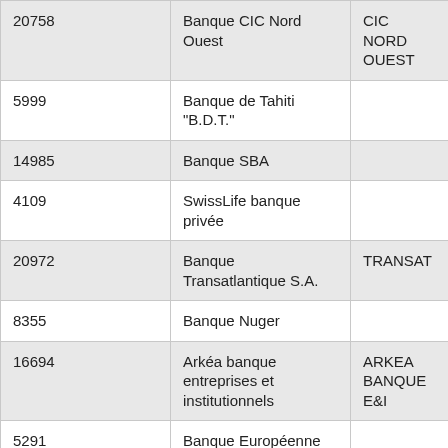|  |  |  |
| --- | --- | --- |
| 20758 | Banque CIC Nord Ouest | CIC NORD OUEST |
| 5999 | Banque de Tahiti "B.D.T." |  |
| 14985 | Banque SBA |  |
| 4109 | SwissLife banque privée |  |
| 20972 | Banque Transatlantique S.A. | TRANSAT |
| 8355 | Banque Nuger |  |
| 16694 | Arkéa banque entreprises et institutionnels | ARKEA BANQUE E&I |
| 5291 | Banque Européenne du |  |